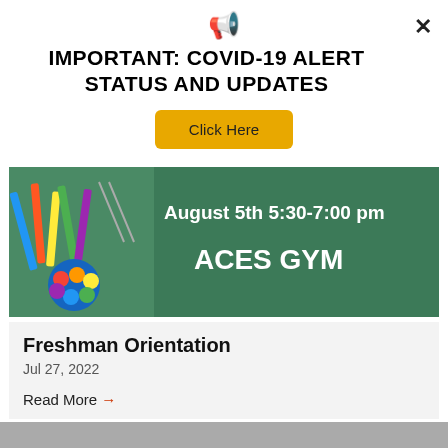[Figure (illustration): Megaphone/loudspeaker icon in black]
IMPORTANT: COVID-19 ALERT STATUS AND UPDATES
× (close button)
Click Here
[Figure (photo): School supplies and green chalkboard banner reading 'August 5th 5:30-7:00 pm ACES GYM']
Freshman Orientation
Jul 27, 2022
Read More →